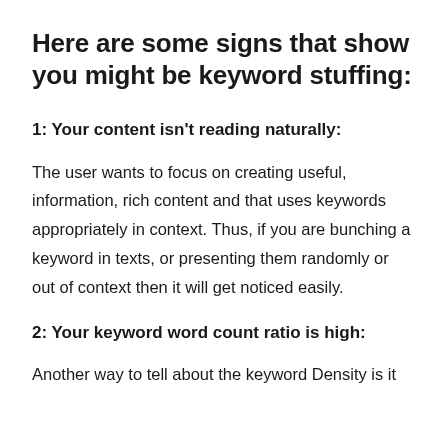Here are some signs that show you might be keyword stuffing:
1: Your content isn't reading naturally:
The user wants to focus on creating useful, information, rich content and that uses keywords appropriately in context. Thus, if you are bunching a keyword in texts, or presenting them randomly or out of context then it will get noticed easily.
2: Your keyword word count ratio is high:
Another way to tell about the keyword Density is it